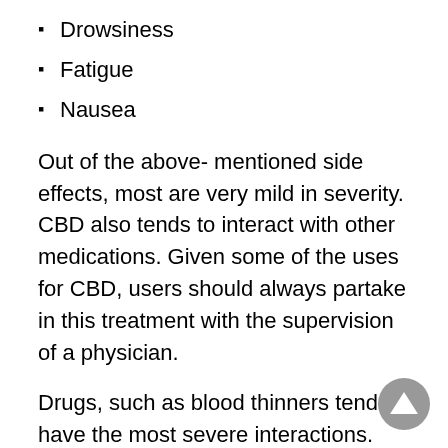Drowsiness
Fatigue
Nausea
Out of the above- mentioned side effects, most are very mild in severity. CBD also tends to interact with other medications. Given some of the uses for CBD, users should always partake in this treatment with the supervision of a physician.
Drugs, such as blood thinners tend to have the most severe interactions. When compared to other medication touting the same uses, there is much to be said of the CBD revolution and the positive aspects that it can provide.